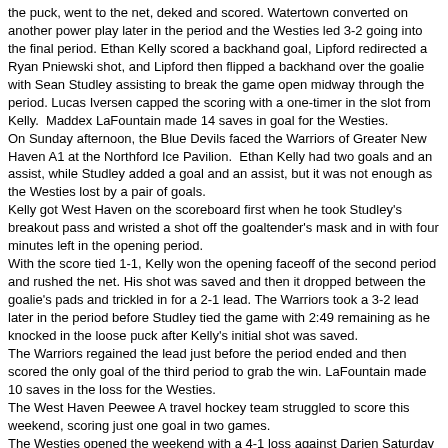the puck, went to the net, deked and scored. Watertown converted on another power play later in the period and the Westies led 3-2 going into the final period. Ethan Kelly scored a backhand goal, Lipford redirected a Ryan Pniewski shot, and Lipford then flipped a backhand over the goalie with Sean Studley assisting to break the game open midway through the period. Lucas Iversen capped the scoring with a one-timer in the slot from Kelly. Maddex LaFountain made 14 saves in goal for the Westies.
On Sunday afternoon, the Blue Devils faced the Warriors of Greater New Haven A1 at the Northford Ice Pavilion. Ethan Kelly had two goals and an assist, while Studley added a goal and an assist, but it was not enough as the Westies lost by a pair of goals.
Kelly got West Haven on the scoreboard first when he took Studley's breakout pass and wristed a shot off the goaltender's mask and in with four minutes left in the opening period.
With the score tied 1-1, Kelly won the opening faceoff of the second period and rushed the net. His shot was saved and then it dropped between the goalie's pads and trickled in for a 2-1 lead. The Warriors took a 3-2 lead later in the period before Studley tied the game with 2:49 remaining as he knocked in the loose puck after Kelly's initial shot was saved.
The Warriors regained the lead just before the period ended and then scored the only goal of the third period to grab the win. LaFountain made 10 saves in the loss for the Westies.
The West Haven Peewee A travel hockey team struggled to score this weekend, scoring just one goal in two games.
The Westies opened the weekend with a 4-1 loss against Darien Saturday morning in Stamford. Brady Price scored the lone West Haven goal, cutting the team's deficit to 2-1 with 7:18 to go in the second period. Price's unassisted tally was all the Westies could manage as Darien iced the contest with a goal in the final 4:52 of the contest.